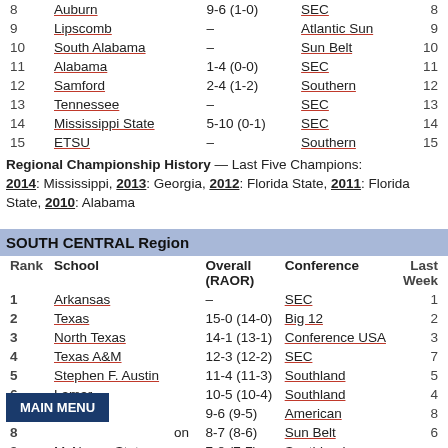| Rank | School | Overall (RAOR) | Conference | Last Week |
| --- | --- | --- | --- | --- |
| 8 | Auburn | 9-6 (1-0) | SEC | 8 |
| 9 | Lipscomb | – | Atlantic Sun | 9 |
| 10 | South Alabama | – | Sun Belt | 10 |
| 11 | Alabama | 1-4 (0-0) | SEC | 11 |
| 12 | Samford | 2-4 (1-2) | Southern | 12 |
| 13 | Tennessee | – | SEC | 13 |
| 14 | Mississippi State | 5-10 (0-1) | SEC | 14 |
| 15 | ETSU | – | Southern | 15 |
Regional Championship History — Last Five Champions: 2014: Mississippi, 2013: Georgia, 2012: Florida State, 2011: Florida State, 2010: Alabama
SOUTH CENTRAL Region
| Rank | School | Overall (RAOR) | Conference | Last Week |
| --- | --- | --- | --- | --- |
| 1 | Arkansas | – | SEC | 1 |
| 2 | Texas | 15-0 (14-0) | Big 12 | 2 |
| 3 | North Texas | 14-1 (13-1) | Conference USA | 3 |
| 4 | Texas A&M | 12-3 (12-2) | SEC | 7 |
| 5 | Stephen F. Austin | 11-4 (11-3) | Southland | 5 |
| 6 | Lamar | 10-5 (10-4) | Southland | 4 |
| 7 | Houston | 9-6 (9-5) | American | 8 |
| 8 | ...on | 8-7 (8-6) | Sun Belt | 6 |
| 9 | McNeese State | 7-8 (7-7) | Southland |  |